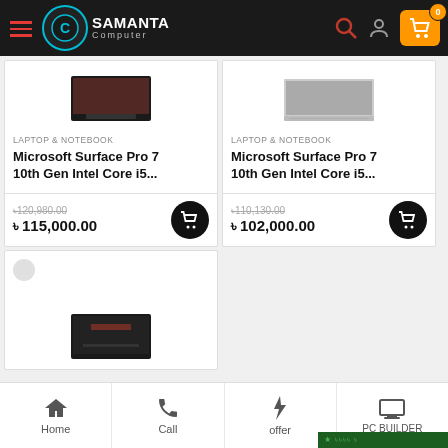Samanta Computer — navigation header with logo, search, and cart (0 items)
[Figure (screenshot): Product card: Microsoft Surface Pro 7 10th Gen Intel Core i5... category: LAPTOP & NOTEBOOK. Old price: ৳120,980.00, New price: ৳115,000.00]
[Figure (screenshot): Product card: Microsoft Surface Pro 7 10th Gen Intel Core i5... category: LAPTOP & NOTEBOOK. Old price: ৳110,130.00, New price: ৳102,000.00]
[Figure (screenshot): Partial product card at bottom left (loading)]
Home | Call | offer | PC BUILDER